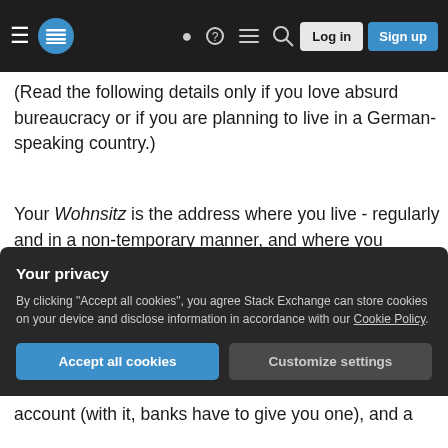Stack Exchange navigation bar with Log in and Sign up buttons
(Read the following details only if you love absurd bureaucracy or if you are planning to live in a German-speaking country.)
Your Wohnsitz is the address where you live - regularly and in a non-temporary manner, and where you consequently have to register with the authorities so that the state always knows where to look for you. (In case you owe someone money, or they want to deport you, or whatever.) In principle everybody must have one. It’s OK for homeless people to register a place where they don’t actually
Your privacy
By clicking “Accept all cookies”, you agree Stack Exchange can store cookies on your device and disclose information in accordance with our Cookie Policy.
Accept all cookies   Customize settings
account (with it, banks have to give you one), and a